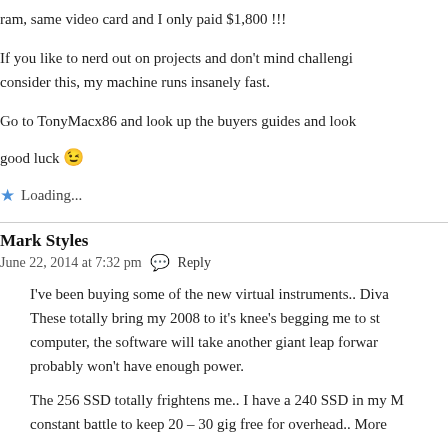ram, same video card and I only paid $1,800 !!!
If you like to nerd out on projects and don't mind challengi... consider this, my machine runs insanely fast.
Go to TonyMacx86 and look up the buyers guides and look
good luck 😉
★ Loading...
Mark Styles
June 22, 2014 at 7:32 pm  Reply
I've been buying some of the new virtual instruments.. Diva... These totally bring my 2008 to it's knee's begging me to st... computer, the software will take another giant leap forwar... probably won't have enough power.
The 256 SSD totally frightens me.. I have a 240 SSD in my M... constant battle to keep 20 – 30 gig free for overhead.. More